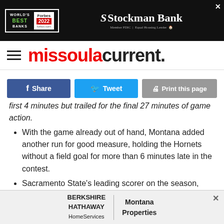[Figure (other): Stockman Bank advertisement banner - World's Best Banks Forbes 2022]
missoulacurrent.
[Figure (other): Social sharing buttons: Share (Facebook), Tweet (Twitter), Print this page]
first 4 minutes but trailed for the final 27 minutes of game action.
With the game already out of hand, Montana added another run for good measure, holding the Hornets without a field goal for more than 6 minutes late in the contest.
Sacramento State's leading scorer on the season, Marcus Graves, was held to 2-of-12 shooting, including 0-for-4 from deep.
Montana is 3-0 to begin Big Sky play for the second year in a row, third time under DeCuire and 11th time in
[Figure (other): Berkshire Hathaway HomeServices | Montana Properties advertisement banner]